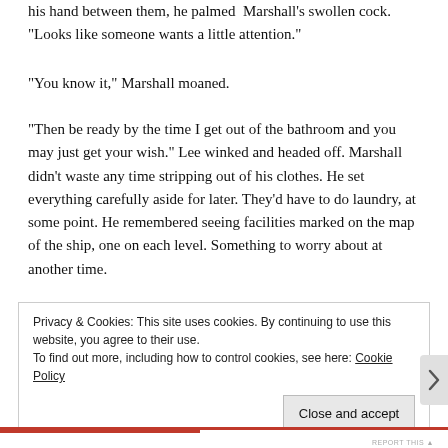his hand between them, he palmed Marshall’s swollen cock. “Looks like someone wants a little attention.”
“You know it,” Marshall moaned.
“Then be ready by the time I get out of the bathroom and you may just get your wish.” Lee winked and headed off. Marshall didn’t waste any time stripping out of his clothes. He set everything carefully aside for later. They’d have to do laundry, at some point. He remembered seeing facilities marked on the map of the ship, one on each level. Something to worry about at another time.
Privacy & Cookies: This site uses cookies. By continuing to use this website, you agree to their use.
To find out more, including how to control cookies, see here: Cookie Policy
Close and accept